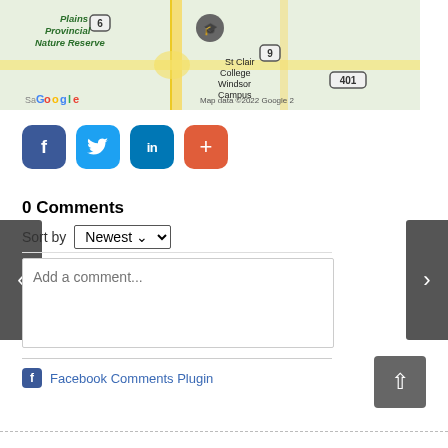[Figure (map): Google Maps screenshot showing St Clair College Windsor Campus, Plains Provincial Nature Reserve, and highways 6, 9, 401. Map data ©2022 Google.]
[Figure (infographic): Social share buttons: Facebook (blue), Twitter (light blue), LinkedIn (dark blue), More/Plus (orange-red)]
0 Comments
Sort by Newest
Add a comment...
Facebook Comments Plugin
[Figure (other): Scroll to top button (grey square with up arrow)]
[Figure (other): Left navigation arrow]
[Figure (other): Right navigation arrow]